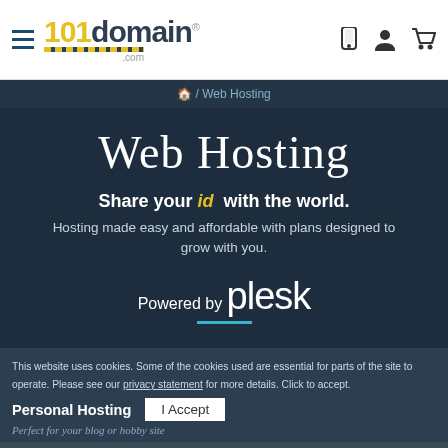101domain.com — navigation header with hamburger menu, logo, phone/account/cart icons
Web Hosting (breadcrumb)
Web Hosting
Share your id with the world.
Hosting made easy and affordable with plans designed to grow with you.
[Figure (logo): Powered by plesk logo with teal underline]
Personal Hosting
This website uses cookies. Some of the cookies used are essential for parts of the site to operate. Please see our privacy statement for more details. Click to accept.
I Accept
Perfect for your blog or hobby site